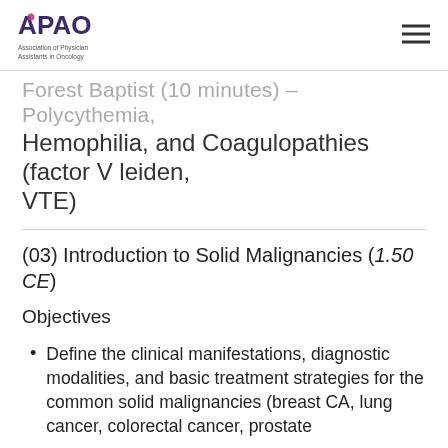APAO — Association of Physician Assistants in Oncology
Forest Baptist (10 minutes) – Polycythemia, Hemophilia, and Coagulopathies (factor V leiden, VTE)
(03) Introduction to Solid Malignancies (1.50 CE)
Objectives
Define the clinical manifestations, diagnostic modalities, and basic treatment strategies for the common solid malignancies (breast CA, lung cancer, colorectal cancer, prostate